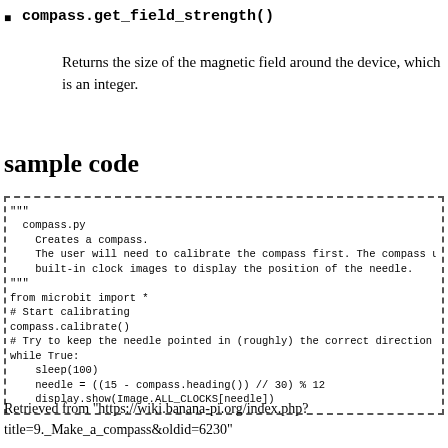compass.get_field_strength()
Returns the size of the magnetic field around the device, which is an integer.
sample code
"""
  compass.py
    Creates a compass.
    The user will need to calibrate the compass first. The compass uses
    built-in clock images to display the position of the needle.
"""
from microbit import *
# Start calibrating
compass.calibrate()
# Try to keep the needle pointed in (roughly) the correct direction
while True:
    sleep(100)
    needle = ((15 - compass.heading()) // 30) % 12
    display.show(Image.ALL_CLOCKS[needle])
Retrieved from "https://wiki.banana-pi.org/index.php?title=9._Make_a_compass&oldid=6230"